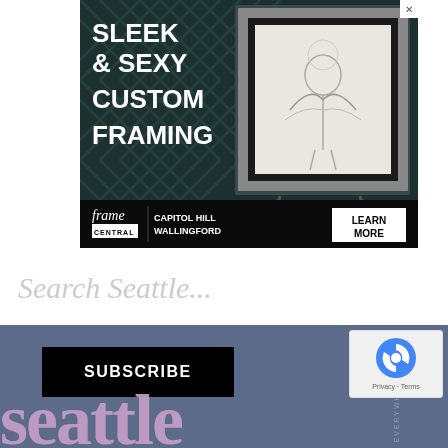[Figure (illustration): Advertisement for Frame Central custom framing shop. Dark teal herringbone background with a silver-framed artwork showing an angel/phoenix figure. Text reads 'SLEEK & SEXY CUSTOM FRAMING'. Bottom bar shows Frame Central logo, locations Capitol Hill and Wallingford, and a Learn More button.]
Search Seattle...
[Figure (logo): Seattle website footer section in dark slate blue. Shows a SUBSCRIBE button and partial 'seattle' text logo in pink/mauve large letters at the bottom.]
[Figure (other): reCAPTCHA badge showing Google reCAPTCHA icon with Privacy and Terms links.]